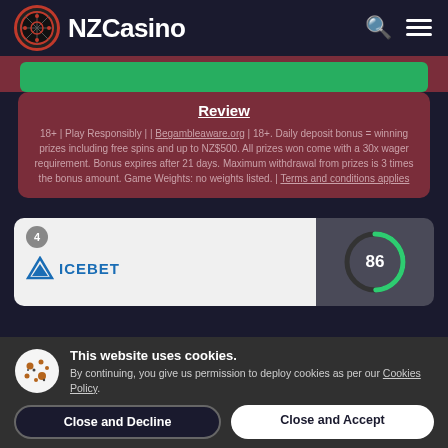NZCasino
Review
18+ | Play Responsibly | | Begambleaware.org | 18+. Daily deposit bonus = winning prizes including free spins and up to NZ$500. All prizes won come with a 30x wager requirement. Bonus expires after 21 days. Maximum withdrawal from prizes is 3 times the bonus amount. Game Weights: no weights listed. | Terms and conditions applies
[Figure (logo): Casino listing item #4 with score badge showing 86]
This website uses cookies. By continuing, you give us permission to deploy cookies as per our Cookies Policy.